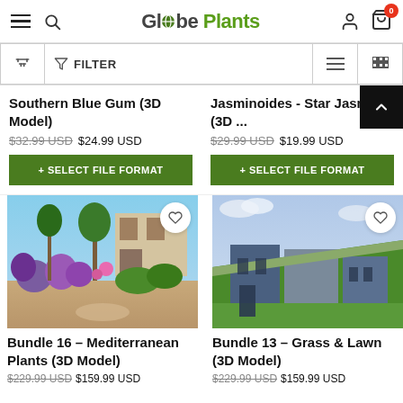Globe Plants - navigation header with hamburger menu, search, logo, user, and cart (0 items)
FILTER
Southern Blue Gum (3D Model)
$32.99 USD  $24.99 USD
+ SELECT FILE FORMAT
Jasminoides - Star Jasmine (3D ...
$29.99 USD  $19.99 USD
+ SELECT FILE FORMAT
[Figure (photo): 3D rendered garden scene with Mediterranean plants, colorful flowers, trees, and a building in background]
Bundle 16 – Mediterranean Plants (3D Model)
$229.99 USD  $159.99 USD
[Figure (photo): 3D rendered modern house with grass roof and lawn, stepping stones]
Bundle 13 – Grass & Lawn (3D Model)
$229.99 USD  $159.99 USD